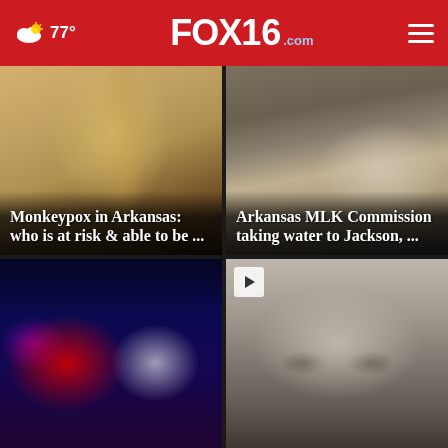FOX16.com — 77° weather — navigation header
[Figure (photo): Close-up of a medical syringe with orange-capped needle]
Monkeypox in Arkansas: who is at risk & able to be ...
[Figure (photo): People in military gear unloading water bottles from a truck]
Arkansas MLK Commission taking water to Jackson, ...
[Figure (photo): Blurred police lights in red and blue at night]
[Figure (photo): Close-up grayscale photo of a woman's face and eyes]